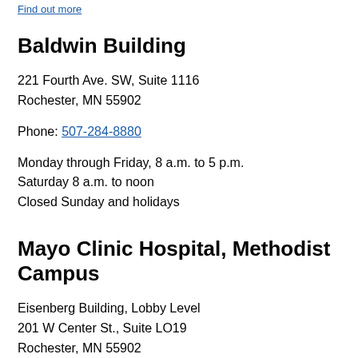Find out more
Baldwin Building
221 Fourth Ave. SW, Suite 1116
Rochester, MN 55902
Phone: 507-284-8880
Monday through Friday, 8 a.m. to 5 p.m.
Saturday 8 a.m. to noon
Closed Sunday and holidays
Mayo Clinic Hospital, Methodist Campus
Eisenberg Building, Lobby Level
201 W Center St., Suite LO19
Rochester, MN 55902
Phone: 507-266-7416